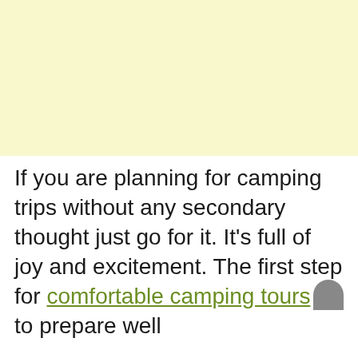[Figure (other): Light yellow rectangular background block occupying the top portion of the page]
If you are planning for camping trips without any secondary thought just go for it. It's full of joy and excitement. The first step for comfortable camping tours is to prepare well